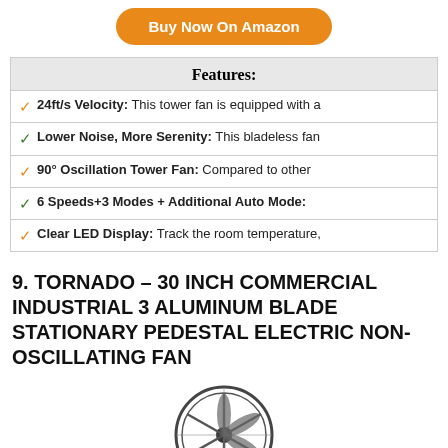[Figure (other): Buy Now On Amazon orange button]
Features:
24ft/s Velocity: This tower fan is equipped with a
Lower Noise, More Serenity: This bladeless fan
90° Oscillation Tower Fan: Compared to other
6 Speeds+3 Modes + Additional Auto Mode:
Clear LED Display: Track the room temperature,
9. TORNADO – 30 INCH COMMERCIAL INDUSTRIAL 3 ALUMINUM BLADE STATIONARY PEDESTAL ELECTRIC NON-OSCILLATING FAN
[Figure (photo): Tornado 30 inch industrial pedestal fan with aluminum blades on a stand, black color]